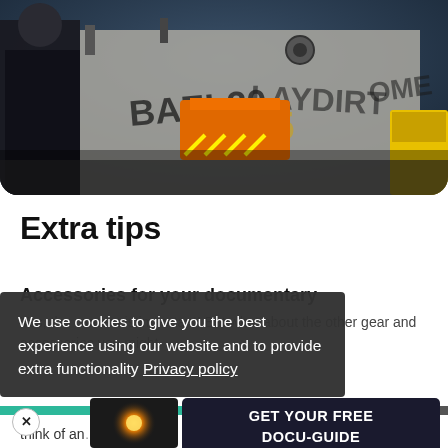[Figure (photo): Photo of a person near an orange lift platform next to a building wall covered in graffiti tags. A yellow machine is visible on the right side. Dark moody tones.]
Extra tips
Accessories for your documentary
We use cookies to give you the best experience using our website and to provide extra functionality  Privacy policy
Yes, the camera is important! But what about the other gear and accessories you might...
GET YOUR FREE DOCU-GUIDE
think of and...